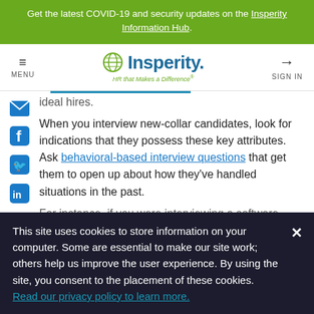Get the latest COVID-19 and security updates on the Insperity Information Hub.
[Figure (logo): Insperity logo with hamburger menu and sign in button in navigation bar]
ideal hires.
When you interview new-collar candidates, look for indications that they possess these key attributes. Ask behavioral-based interview questions that get them to open up about how they've handled situations in the past.
For instance, if you were interviewing a software
This site uses cookies to store information on your computer. Some are essential to make our site work; others help us improve the user experience. By using the site, you consent to the placement of these cookies. Read our privacy policy to learn more.